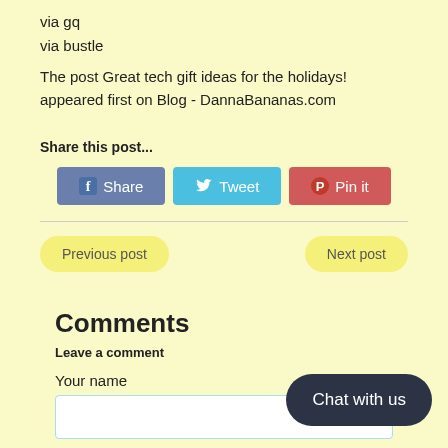via gq
via bustle
The post Great tech gift ideas for the holidays! appeared first on Blog - DannaBananas.com
Share this post...
[Figure (other): Social share buttons: Facebook Share, Twitter Tweet, Pinterest Pin it]
[Figure (other): Navigation buttons: Previous post (left) and Next post (right)]
Comments
Leave a comment
Your name
[Figure (other): Chat with us button overlay]